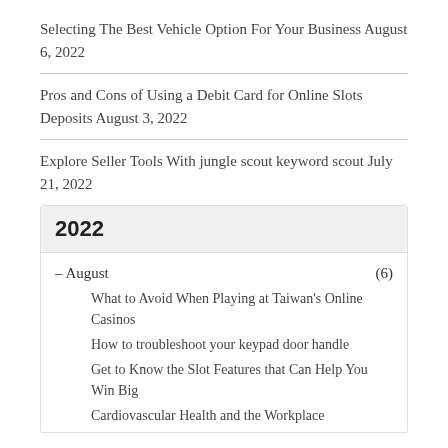Selecting The Best Vehicle Option For Your Business August 6, 2022
Pros and Cons of Using a Debit Card for Online Slots Deposits August 3, 2022
Explore Seller Tools With jungle scout keyword scout July 21, 2022
2022
– August (6)
What to Avoid When Playing at Taiwan's Online Casinos
How to troubleshoot your keypad door handle
Get to Know the Slot Features that Can Help You Win Big
Cardiovascular Health and the Workplace